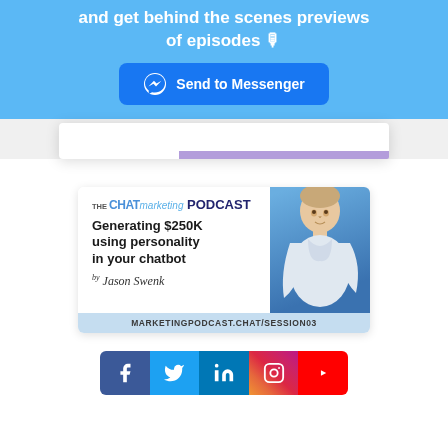and get behind the scenes previews of episodes 🎙
[Figure (screenshot): Blue Send to Messenger button with Messenger lightning bolt icon]
[Figure (screenshot): White card with purple accent bar at bottom]
[Figure (screenshot): The Chat Marketing Podcast card - Generating $250K using personality in your chatbot by Jason Swenk, MARKETINGPODCAST.CHAT/SESSION03]
[Figure (screenshot): Social media icons bar: Facebook (blue), Twitter (light blue), LinkedIn (teal), Instagram (pink/red), YouTube (red)]